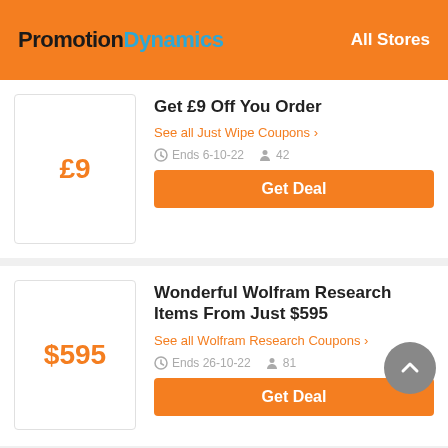PromotionDynamics — All Stores
Get £9 Off You Order
See all Just Wipe Coupons ›
Ends 6-10-22  42
Get Deal
Wonderful Wolfram Research Items From Just $595
See all Wolfram Research Coupons ›
Ends 26-10-22  81
Get Deal